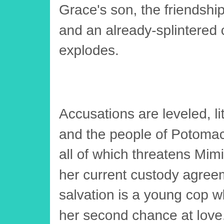Grace's son, the friendship is ripped apart and an already-splintered community explodes.
Accusations are leveled, litigation ensues, and the people of Potomac Point take sides, all of which threatens Mimi's business and her current custody agreement. Her sole salvation is a young cop who just might be her second chance at love. That fact only antagonizes Grace, whose marriage is crumbling beneath the weight of blame and the echo of past mistakes.